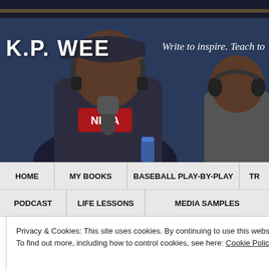[Figure (photo): Two men in a podcast/radio studio setting. Left man wearing a baseball cap and headphones, speaking into a microphone. Right man also wearing headphones. Studio has shelves with sports memorabilia in background. Blue wall backdrop. Text overlays: 'K.P. WEE' and 'Write to inspire. Teach to']
K.P. WEE
Write to inspire. Teach to
HOME
MY BOOKS
BASEBALL PLAY-BY-PLAY
TR
PODCAST
LIFE LESSONS
MEDIA SAMPLES
Privacy & Cookies: This site uses cookies. By continuing to use this website, you agree to their use.
To find out more, including how to control cookies, see here: Cookie Policy
Close and accept
Giants in June 1997